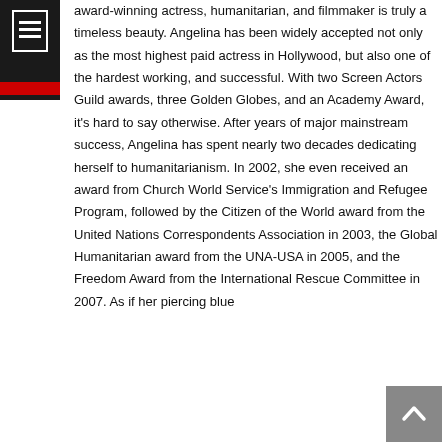[Navigation/menu icon with red bar]
award-winning actress, humanitarian, and filmmaker is truly a timeless beauty. Angelina has been widely accepted not only as the most highest paid actress in Hollywood, but also one of the hardest working, and successful. With two Screen Actors Guild awards, three Golden Globes, and an Academy Award, it's hard to say otherwise. After years of major mainstream success, Angelina has spent nearly two decades dedicating herself to humanitarianism. In 2002, she even received an award from Church World Service's Immigration and Refugee Program, followed by the Citizen of the World award from the United Nations Correspondents Association in 2003, the Global Humanitarian award from the UNA-USA in 2005, and the Freedom Award from the International Rescue Committee in 2007. As if her piercing blue